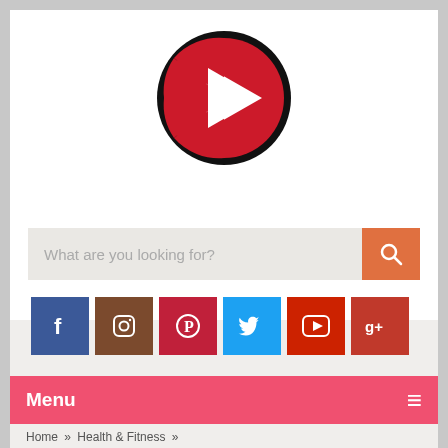[Figure (logo): Red and white play button icon inside a black circle — website logo]
What are you looking for?
[Figure (infographic): Row of six social media icon buttons: Facebook (blue), Instagram (brown), Pinterest (red), Twitter (light blue), YouTube (red), Google+ (dark red)]
Menu
Home » Health & Fitness »
HOW TO USE COCONUT OIL TO PREVENT GRAYING, BALDING